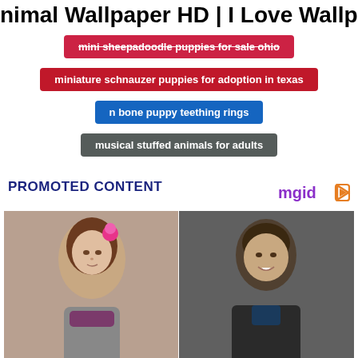Animal Wallpaper HD | I Love Wallpa…
mini sheepadoodle puppies for sale ohio
miniature schnauzer puppies for adoption in texas
n bone puppy teething rings
musical stuffed animals for adults
PROMOTED CONTENT
[Figure (photo): Composite photo: young girl with pink flower in hair on left, smiling man in dark jacket on right]
10 Celebrity Dads Who Have A Bad Relationship With Their Kids